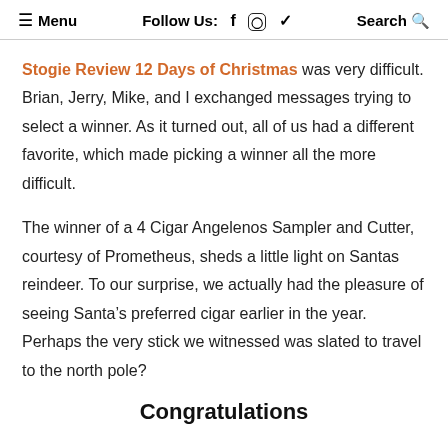≡ Menu   Follow Us: f  ⊙  🐦   Search 🔍
Stogie Review 12 Days of Christmas was very difficult. Brian, Jerry, Mike, and I exchanged messages trying to select a winner. As it turned out, all of us had a different favorite, which made picking a winner all the more difficult.
The winner of a 4 Cigar Angelenos Sampler and Cutter, courtesy of Prometheus, sheds a little light on Santas reindeer. To our surprise, we actually had the pleasure of seeing Santa's preferred cigar earlier in the year. Perhaps the very stick we witnessed was slated to travel to the north pole?
Congratulations